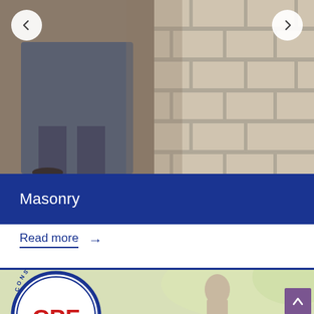[Figure (photo): Construction worker in front of a brick wall, masonry work visible. Navigation arrows (left and right) overlaid on photo corners.]
Masonry
Read more →
[Figure (logo): CPF Construction company circular logo with blue border and red lettering, partial view at bottom of page. Worker figure partially visible in background.]